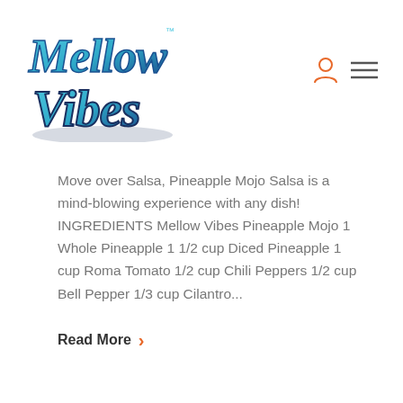[Figure (logo): Mellow Vibes logo in blue and teal gradient cursive text with TM mark]
Move over Salsa, Pineapple Mojo Salsa is a mind-blowing experience with any dish! INGREDIENTS Mellow Vibes Pineapple Mojo 1 Whole Pineapple 1 1/2 cup Diced Pineapple 1 cup Roma Tomato 1/2 cup Chili Peppers 1/2 cup Bell Pepper 1/3 cup Cilantro...
Read More >